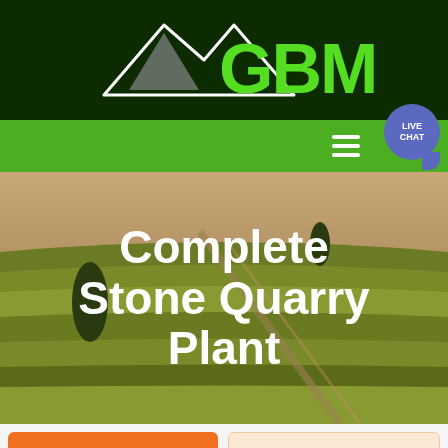[Figure (logo): GBM logo with mountain/arrow graphic in white and gray on dark green background]
[Figure (screenshot): Green navigation bar with hamburger menu icon and Live Chat bubble button]
[Figure (photo): Aerial photo of agricultural fields with rows of crops, used as hero background]
Complete Stone Quarry Plant
Get a Quote
WhatsApp